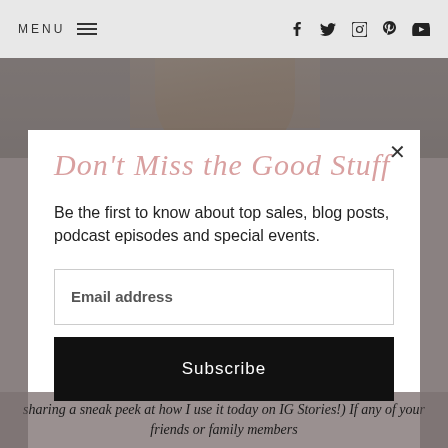MENU | f | twitter | instagram | pinterest | youtube
[Figure (photo): Partially visible background photo of a blonde woman, cropped at top and overlaid by modal]
Don't Miss the Good Stuff
Be the first to know about top sales, blog posts, podcast episodes and special events.
Email address
Subscribe
sharing a sneak peek at how I use it today on IG Stories!) If any of your friends or family members